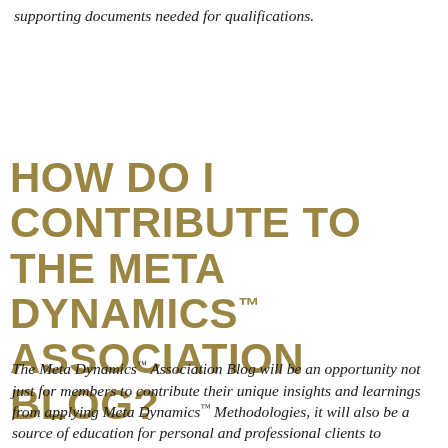supporting documents needed for qualifications.
HOW DO I CONTRIBUTE TO THE META DYNAMICS™ ASSOCIATION BLOG?
The Meta Dynamics™ Association Blog will be an opportunity not just for members to contribute their unique insights and learnings from applying Meta Dynamics™ Methodologies, it will also be a source of education for personal and professional clients to understand more